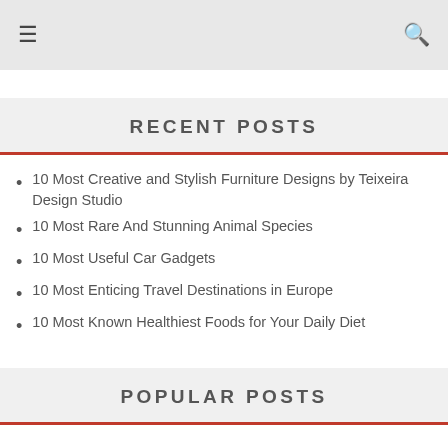☰  🔍
RECENT POSTS
10 Most Creative and Stylish Furniture Designs by Teixeira Design Studio
10 Most Rare And Stunning Animal Species
10 Most Useful Car Gadgets
10 Most Enticing Travel Destinations in Europe
10 Most Known Healthiest Foods for Your Daily Diet
POPULAR POSTS